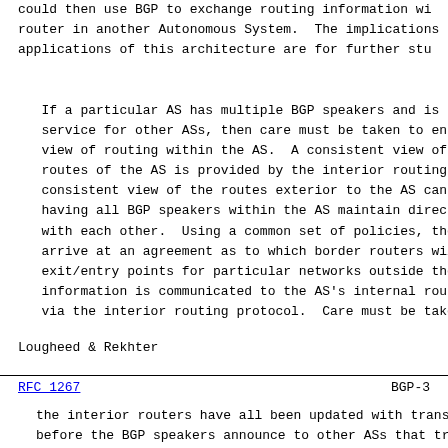could then use BGP to exchange routing information wi router in another Autonomous System.  The implications applications of this architecture are for further stu
If a particular AS has multiple BGP speakers and is p service for other ASs, then care must be taken to ens view of routing within the AS.  A consistent view of routes of the AS is provided by the interior routing p consistent view of the routes exterior to the AS can having all BGP speakers within the AS maintain direct with each other.  Using a common set of policies, the arrive at an agreement as to which border routers wil exit/entry points for particular networks outside the information is communicated to the AS's internal rout via the interior routing protocol.  Care must be take
Lougheed & Rekhter
RFC 1267                        BGP-3
the interior routers have all been updated with trans before the BGP speakers announce to other ASs that tr being provided.
Connections between BGP speakers of different ASs are